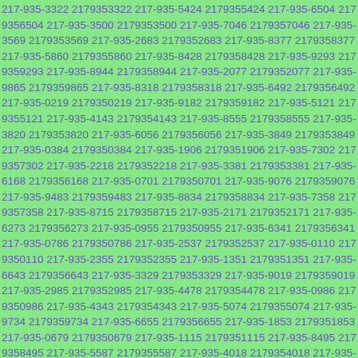217-935-3322 2179353322 217-935-5424 2179355424 217-935-6504 2179356504 217-935-3500 2179353500 217-935-7046 2179357046 217-935-3569 2179353569 217-935-2683 2179352683 217-935-8377 2179358377 217-935-5860 2179355860 217-935-8428 2179358428 217-935-9293 2179359293 217-935-8944 2179358944 217-935-2077 2179352077 217-935-9865 2179359865 217-935-8318 2179358318 217-935-6492 2179356492 217-935-0219 2179350219 217-935-9182 2179359182 217-935-5121 2179355121 217-935-4143 2179354143 217-935-8555 2179358555 217-935-3820 2179353820 217-935-6056 2179356056 217-935-3849 2179353849 217-935-0384 2179350384 217-935-1906 2179351906 217-935-7302 2179357302 217-935-2218 2179352218 217-935-3381 2179353381 217-935-6168 2179356168 217-935-0701 2179350701 217-935-9076 2179359076 217-935-9483 2179359483 217-935-8834 2179358834 217-935-7358 2179357358 217-935-8715 2179358715 217-935-2171 2179352171 217-935-6273 2179356273 217-935-0955 2179350955 217-935-6341 2179356341 217-935-0786 2179350786 217-935-2537 2179352537 217-935-0110 2179350110 217-935-2355 2179352355 217-935-1351 2179351351 217-935-6643 2179356643 217-935-3329 2179353329 217-935-9019 2179359019 217-935-2985 2179352985 217-935-4478 2179354478 217-935-0986 2179350986 217-935-4343 2179354343 217-935-5074 2179355074 217-935-9734 2179359734 217-935-6655 2179356655 217-935-1853 2179351853 217-935-0679 2179350679 217-935-1115 2179351115 217-935-8495 2179358495 217-935-5587 2179355587 217-935-4018 2179354018 217-935-6310 2179356310 217-935-8467